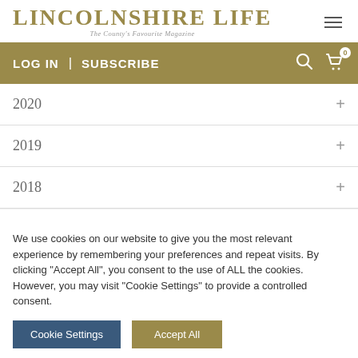LINCOLNSHIRE LIFE — The County's Favourite Magazine
LOG IN | SUBSCRIBE
2020
2019
2018
We use cookies on our website to give you the most relevant experience by remembering your preferences and repeat visits. By clicking "Accept All", you consent to the use of ALL the cookies. However, you may visit "Cookie Settings" to provide a controlled consent.
Cookie Settings | Accept All